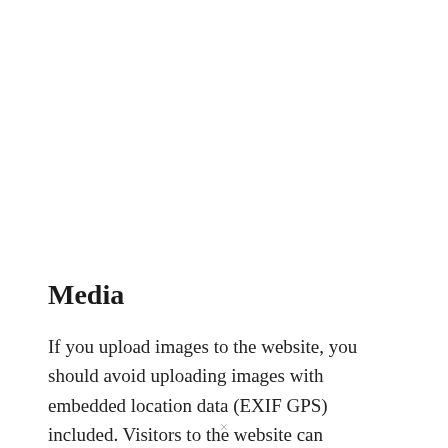Media
If you upload images to the website, you should avoid uploading images with embedded location data (EXIF GPS) included. Visitors to the website can download and extract any